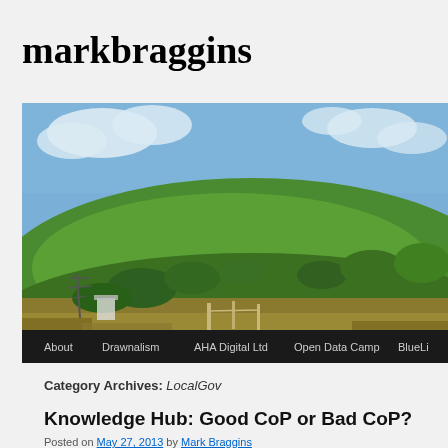markbraggins
[Figure (photo): Panoramic photo of a green hill with blue sky and clouds, with a navigation bar below showing: About, Drawnalism, AHA Digital Ltd, Open Data Camp, BlueLi...]
Category Archives: LocalGov
Knowledge Hub: Good CoP or Bad CoP?
Posted on May 27, 2013 by Mark Braggins